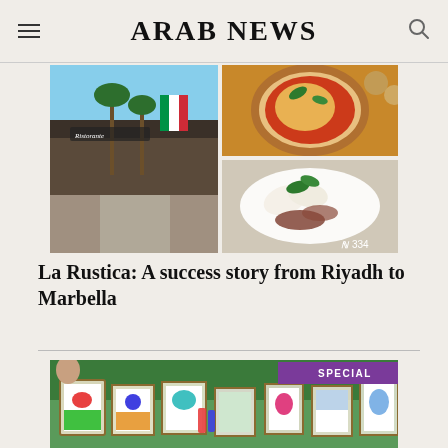ARAB NEWS
[Figure (photo): Collage of three photos: left - exterior of La Rustica Italian restaurant in Riyadh with palm trees and Italian flag shield sign; top right - Neapolitan pizza with basil and tomato; bottom right - antipasto plate with mozzarella, basil, and cured meats. Counter badge showing 334.]
La Rustica: A success story from Riyadh to Marbella
[Figure (photo): Art class scene showing children painting on canvases with colorful artwork, with a SPECIAL badge overlay in purple.]